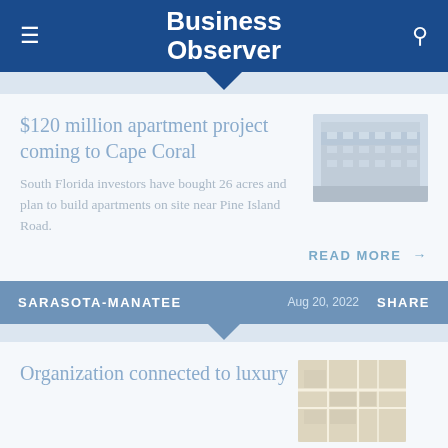Business Observer
$120 million apartment project coming to Cape Coral
South Florida investors have bought 26 acres and plan to build apartments on site near Pine Island Road.
[Figure (photo): Exterior photo of an apartment building complex, light gray tones]
READ MORE →
SARASOTA-MANATEE    Aug 20, 2022    SHARE
Organization connected to luxury
[Figure (map): Map thumbnail showing location]